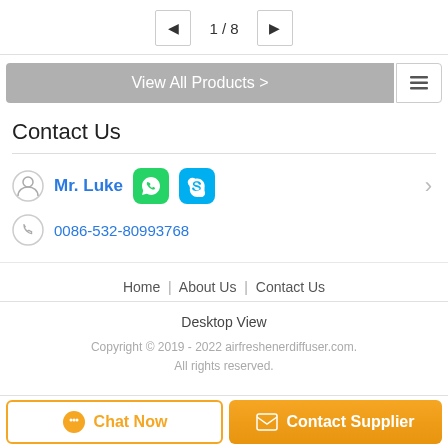1 / 8
View All Products >
Contact Us
Mr. Luke  0086-532-80993768
Home | About Us | Contact Us
Desktop View
Copyright © 2019 - 2022 airfreshenerdiffuser.com. All rights reserved.
Chat Now  Contact Supplier